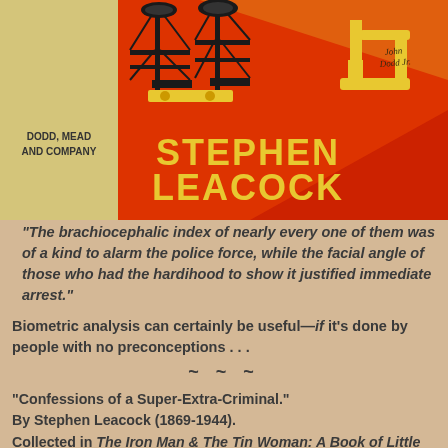[Figure (photo): Book cover of a Stephen Leacock book with red background and yellow text reading 'STEPHEN LEACOCK'. Shows industrial/robotic figures at top. Left spine area shows 'DODD, MEAD AND COMPANY'. Handwritten signature 'John Dodd Jr' visible.]
"The brachiocephalic index of nearly every one of them was of a kind to alarm the police force, while the facial angle of those who had the hardihood to show it justified immediate arrest."
Biometric analysis can certainly be useful—if it's done by people with no preconceptions . . .
~ ~ ~
"Confessions of a Super-Extra-Criminal."
By Stephen Leacock (1869-1944).
Collected in The Iron Man & The Tin Woman: A Book of Little Sketches of To-Day and To-Morrow (1929).
Short story (10 pages).